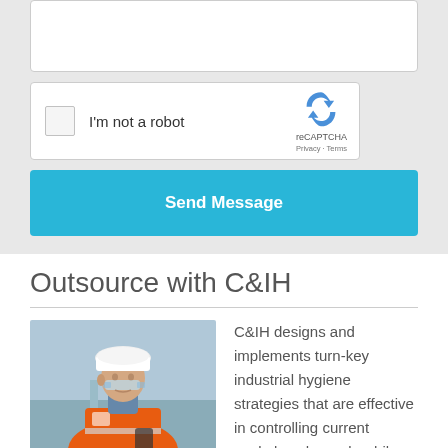[Figure (screenshot): Partially visible textarea input box (white rectangle with border)]
[Figure (screenshot): reCAPTCHA widget with checkbox labeled 'I'm not a robot' and reCAPTCHA logo with Privacy and Terms links]
Send Message
Outsource with C&IH
[Figure (photo): Worker wearing white hard hat, safety glasses, and orange high-visibility jacket, looking to the side at an industrial site]
C&IH designs and implements turn-key industrial hygiene strategies that are effective in controlling current workplace hazards while